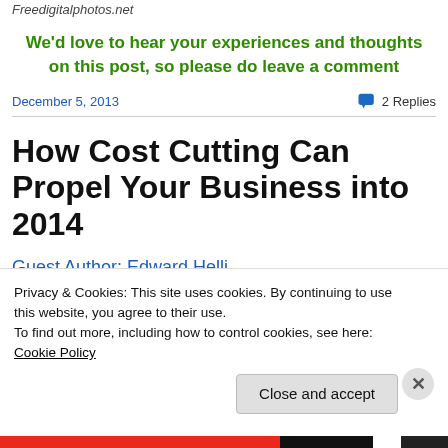Freedigitalphotos.net
We'd love to hear your experiences and thoughts on this post, so please do leave a comment
December 5, 2013    💬 2 Replies
How Cost Cutting Can Propel Your Business into 2014
Guest Author: Edward Halli...
Privacy & Cookies: This site uses cookies. By continuing to use this website, you agree to their use.
To find out more, including how to control cookies, see here: Cookie Policy
Close and accept